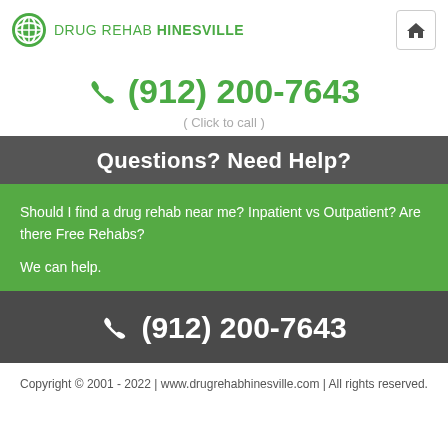DRUG REHAB HINESVILLE
(912) 200-7643 ( Click to call )
Questions? Need Help?
Should I find a drug rehab near me? Inpatient vs Outpatient? Are there Free Rehabs?

We can help.
(912) 200-7643
Copyright © 2001 - 2022 | www.drugrehabhinesville.com | All rights reserved.